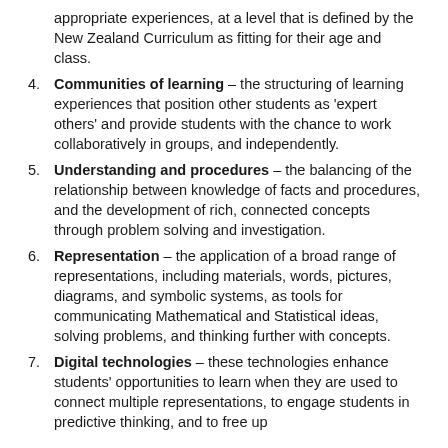appropriate experiences, at a level that is defined by the New Zealand Curriculum as fitting for their age and class.
4. Communities of learning – the structuring of learning experiences that position other students as 'expert others' and provide students with the chance to work collaboratively in groups, and independently.
5. Understanding and procedures – the balancing of the relationship between knowledge of facts and procedures, and the development of rich, connected concepts through problem solving and investigation.
6. Representation – the application of a broad range of representations, including materials, words, pictures, diagrams, and symbolic systems, as tools for communicating Mathematical and Statistical ideas, solving problems, and thinking further with concepts.
7. Digital technologies – these technologies enhance students' opportunities to learn when they are used to connect multiple representations, to engage students in predictive thinking, and to free up